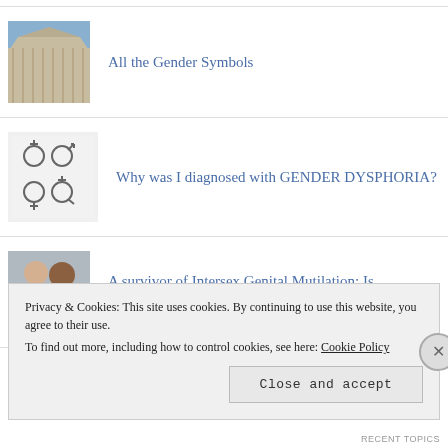All the Gender Symbols
Why was I diagnosed with GENDER DYSPHORIA?
A survivor of Intersex Genital Mutilation: Is Hypospadias Intersex?
Privacy & Cookies: This site uses cookies. By continuing to use this website, you agree to their use.
To find out more, including how to control cookies, see here: Cookie Policy
Close and accept